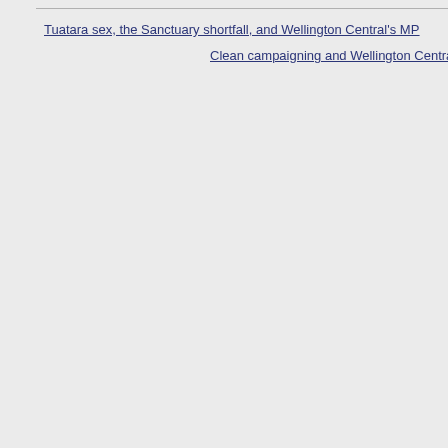Tuatara sex, the Sanctuary shortfall, and Wellington Central's MP
Clean campaigning and Wellington Central's last MTC m